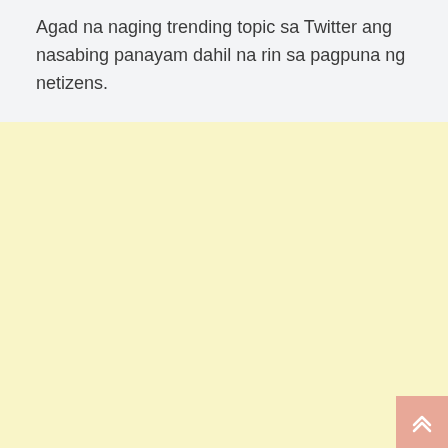Agad na naging trending topic sa Twitter ang nasabing panayam dahil na rin sa pagpuna ng netizens.